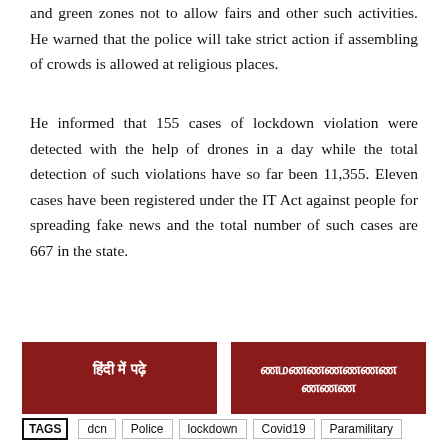and green zones not to allow fairs and other such activities. He warned that the police will take strict action if assembling of crowds is allowed at religious places.
He informed that 155 cases of lockdown violation were detected with the help of drones in a day while the total detection of such violations have so far been 11,355. Eleven cases have been registered under the IT Act against people for spreading fake news and the total number of such cases are 667 in the state.
हिंदी में पढ़े
ணமணணணணணண ணணண
TAGS  |  dcn  |  Police  |  lockdown  |  Covid19  |  Paramilitary